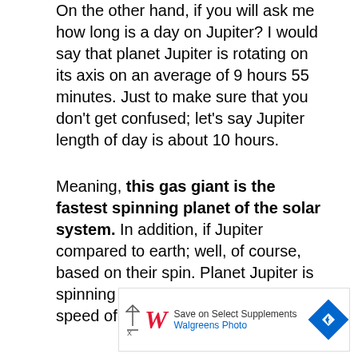On the other hand, if you will ask me how long is a day on Jupiter? I would say that planet Jupiter is rotating on its axis on an average of 9 hours 55 minutes. Just to make sure that you don't get confused; let's say Jupiter length of day is about 10 hours.
Meaning, this gas giant is the fastest spinning planet of the solar system. In addition, if Jupiter compared to earth; well, of course, based on their spin. Planet Jupiter is spinning 28 times faster than the speed of rotation of the earth.
[Figure (other): Walgreens advertisement banner: Save on Select Supplements, Walgreens Photo, with Walgreens cursive logo and blue diamond arrow icon]